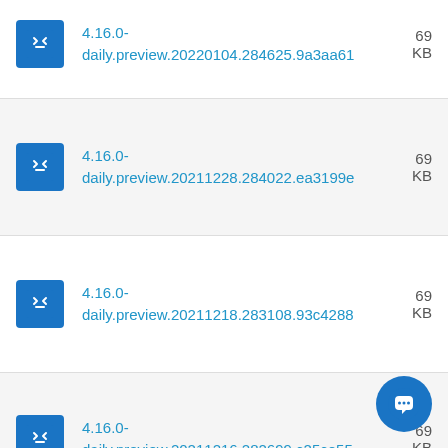4.16.0-daily.preview.20220104.284625.9a3aa61
4.16.0-daily.preview.20211228.284022.ea3199e
4.16.0-daily.preview.20211218.283108.93c4288
4.16.0-daily.preview.20211216.282699.c25ce55